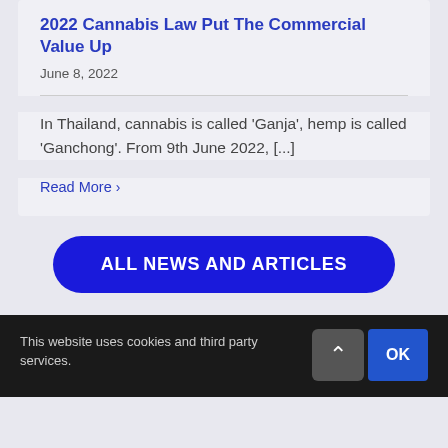2022 Cannabis Law Put The Commercial Value Up
June 8, 2022
In Thailand, cannabis is called ‘Ganja’, hemp is called ‘Ganchong’. From 9th June 2022, [...]
Read More >
ALL NEWS AND ARTICLES
This website uses cookies and third party services.
OK